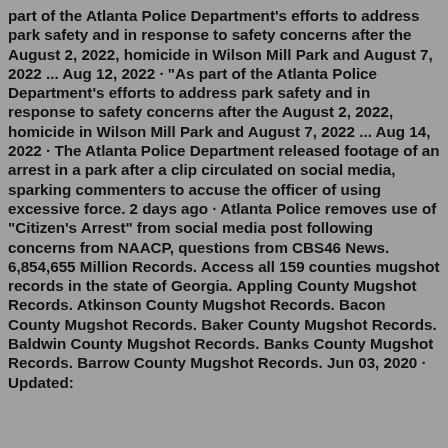part of the Atlanta Police Department's efforts to address park safety and in response to safety concerns after the August 2, 2022, homicide in Wilson Mill Park and August 7, 2022 ... Aug 12, 2022 · "As part of the Atlanta Police Department's efforts to address park safety and in response to safety concerns after the August 2, 2022, homicide in Wilson Mill Park and August 7, 2022 ... Aug 14, 2022 · The Atlanta Police Department released footage of an arrest in a park after a clip circulated on social media, sparking commenters to accuse the officer of using excessive force. 2 days ago · Atlanta Police removes use of "Citizen's Arrest" from social media post following concerns from NAACP, questions from CBS46 News. 6,854,655 Million Records. Access all 159 counties mugshot records in the state of Georgia. Appling County Mugshot Records. Atkinson County Mugshot Records. Bacon County Mugshot Records. Baker County Mugshot Records. Baldwin County Mugshot Records. Banks County Mugshot Records. Barrow County Mugshot Records. Jun 03, 2020 · Updated: